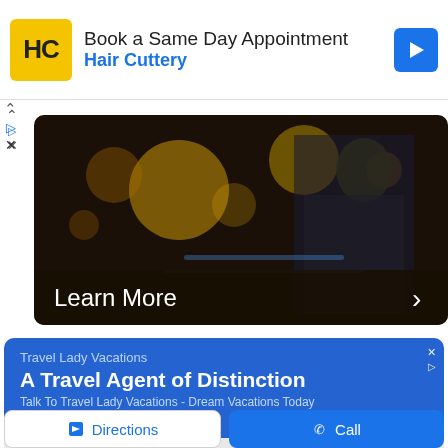[Figure (screenshot): Hair Cuttery advertisement banner with logo, 'Book a Same Day Appointment' text and 'Hair Cuttery' subtitle in blue, with a blue diamond arrow icon on the right]
[Figure (photo): Hero image showing a person working at a laptop in a dark bokeh-lit environment, with a 'Learn More' button overlay and right chevron arrow]
[Figure (screenshot): Blue advertisement card for Travel Lady Vacations with text 'A Travel Agent of Distinction' and 'Talk To Travel Lady Vacations - Dream Vacations Today']
[Figure (map): Google Maps snippet showing street map with a red location pin marker and yellow road]
[Figure (screenshot): Two buttons at the bottom: 'Directions' (white background, blue diamond icon) and 'Call' (blue background, phone icon)]